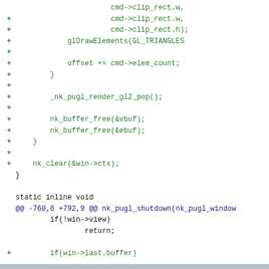[Figure (screenshot): A code diff screenshot showing C code additions (green +) and context lines in a diff view. Contains two hunks: one ending a render loop with glDrawElements, offset increment, _nk_pugl_render_gl2_pop(), nk_buffer_free calls, nk_clear; and a second hunk starting with @@ -760,6 +792,9 @@ nk_pugl_shutdown showing if(!win->view) return, additions for if(win->last.buffer) free(win->last.buffer), puglEnterContext, and // shutdown nuklear font comment.]